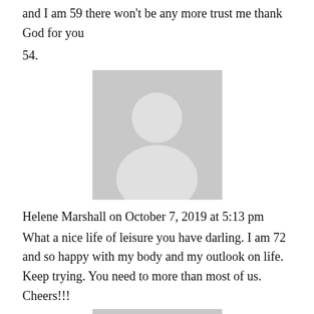and I am 59 there won't be any more trust me thank God for you
54.
[Figure (illustration): Generic user avatar placeholder image - grey silhouette of a person on light grey background]
Helene Marshall on October 7, 2019 at 5:13 pm
What a nice life of leisure you have darling. I am 72 and so happy with my body and my outlook on life. Keep trying. You need to more than most of us. Cheers!!!
[Figure (illustration): Generic user avatar placeholder image - grey silhouette of a person on light grey background]
AccidentalIcon on October 8, 2019 at 11:55 am
Could you clarify what you mean? Don't